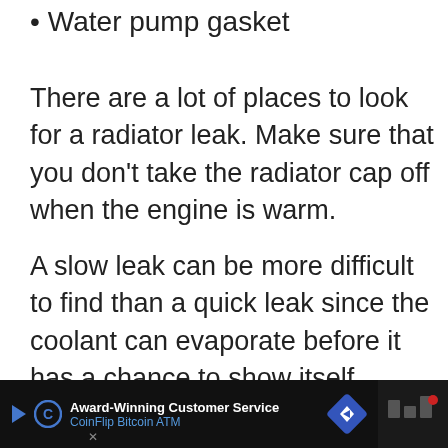Water pump gasket
There are a lot of places to look for a radiator leak.  Make sure that you don't take the radiator cap off when the engine is warm.
A slow leak can be more difficult to find than a quick leak since the coolant can evaporate before it has a chance to show itself.
If you are losing fluid, but can't readily see the leak, UV dye is a great tool to locate it.  It really works well.  If you aren't f... look a... ot of
[Figure (other): Advertisement banner for CoinFlip Bitcoin ATM with Award-Winning Customer Service text, play button icon, CoinFlip logo, and navigation/directions diamond icon]